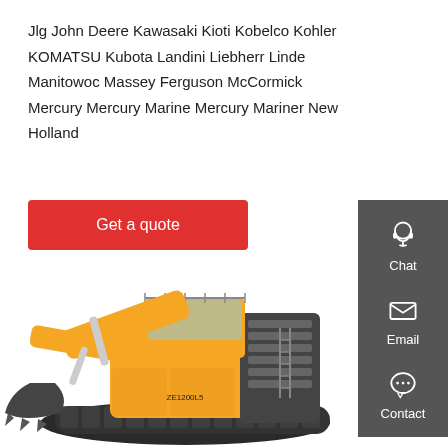Jlg John Deere Kawasaki Kioti Kobelco Kohler KOMATSU Kubota Landini Liebherr Linde Manitowoc Massey Ferguson McCormick Mercury Mercury Marine Mercury Mariner New Holland
[Figure (other): Red button labeled 'Get a quote']
[Figure (other): Dark grey sidebar with Chat (headset icon), Email (envelope icon), and Contact (speech bubble icon) buttons with red dividers]
[Figure (photo): Large yellow mining excavator/shovel on crawler tracks, facing left, with a large bucket attachment]